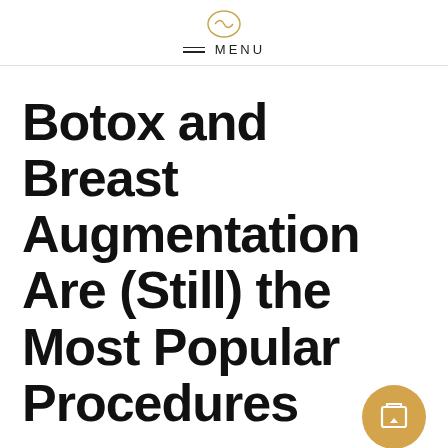≡ MENU
Botox and Breast Augmentation Are (Still) the Most Popular Procedures